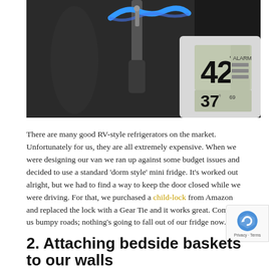[Figure (photo): Close-up photo of a refrigerator door handle with a blue Gear Tie / child-lock securing it. On the right side is a digital thermometer display showing 42°F and 37°F readings.]
There are many good RV-style refrigerators on the market. Unfortunately for us, they are all extremely expensive. When we were designing our van we ran up against some budget issues and decided to use a standard 'dorm style' mini fridge. It's worked out alright, but we had to find a way to keep the door closed while we were driving. For that, we purchased a child-lock from Amazon and replaced the lock with a Gear Tie and it works great. Come at us bumpy roads; nothing's going to fall out of our fridge now.
2. Attaching bedside baskets to our walls